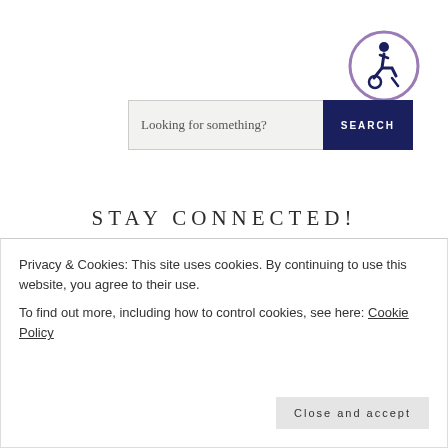[Figure (logo): Accessibility icon - circular badge with person using wheelchair, purple border on white background]
Looking for something?   SEARCH
STAY CONNECTED!
[Figure (infographic): Row of 7 social media icons in dark navy: Twitter, Patreon, Instagram, Pinterest, Twitch, Last.fm, Spotify]
I'm Kal, a thirty-something California gal who loves reading.
Privacy & Cookies: This site uses cookies. By continuing to use this website, you agree to their use.
To find out more, including how to control cookies, see here: Cookie Policy
Close and accept